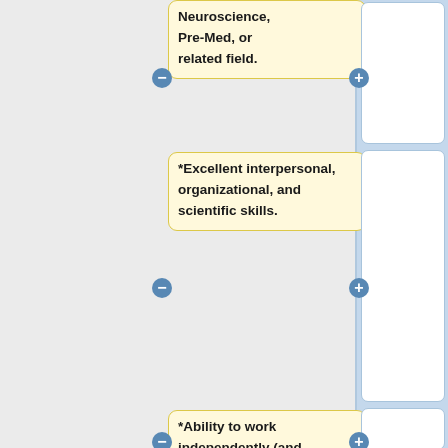Neuroscience, Pre-Med, or related field.
*Excellent interpersonal, organizational, and scientific skills.
*Ability to work independently (and alongside clinical professionals) with limited oversight to ensure that high-quality data is collected.